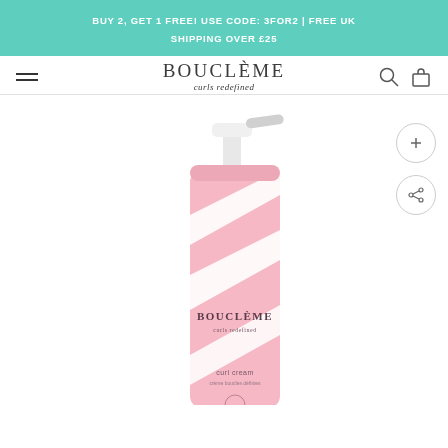BUY 2, GET 1 FREE! USE CODE: 3FOR2 | FREE UK SHIPPING OVER £25
BOUCLÈME curls redefined
[Figure (photo): A Bouclème Curl Cream pump bottle with pink and white diagonal stripe label, white pump dispenser, shown on white background with a faint shadow.]